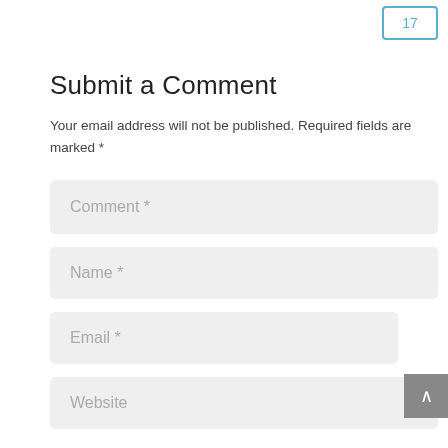[Figure (screenshot): Blue-bordered button with '17' in top right corner]
Submit a Comment
Your email address will not be published. Required fields are marked *
Comment *
Name *
Email *
Website
[Figure (screenshot): Gray back-to-top button with upward chevron arrow on right edge]